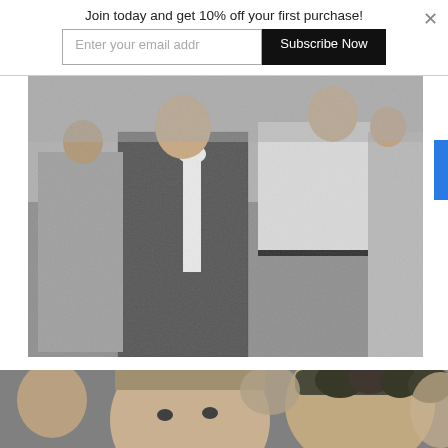Join today and get 10% off your first purchase!
[Figure (photo): Black and white photograph showing a group of people standing, including a woman in a checkered dress with a white bow/ribbon, and a man in a white short-sleeved shirt with trousers. Appears to be a historical crowd scene.]
[Figure (photo): Black and white photograph showing close-up of two children/young people, one facing forward with short light hair, the other with curly dark hair in profile.]